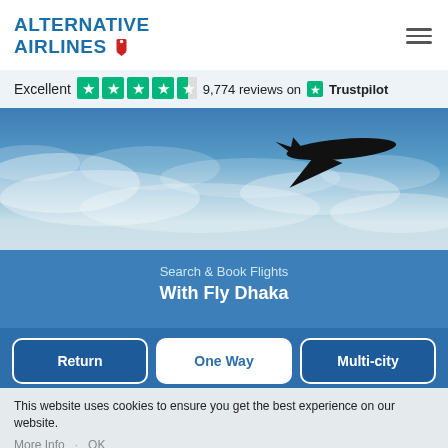ALTERNATIVE AIRLINES
Excellent  9,774 reviews on Trustpilot
[Figure (photo): Airplane silhouette flying against a blue cloudy sky]
Search & Book Flights
With Fly Dhaka
Return  One Way  Multi-city
This website uses cookies to ensure you get the best experience on our website. More Info  OK